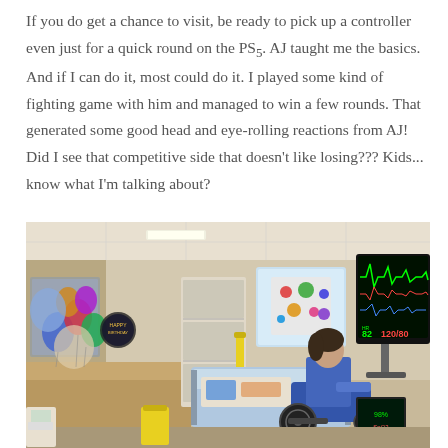If you do get a chance to visit, be ready to pick up a controller even just for a quick round on the PS5. AJ taught me the basics. And if I can do it, most could do it. I played some kind of fighting game with him and managed to win a few rounds. That generated some good head and eye-rolling reactions from AJ! Did I see that competitive side that doesn't like losing??? Kids... know what I'm talking about?
[Figure (photo): Hospital room scene showing a person in a power wheelchair sitting next to a patient bed with medical equipment. The room has colorful balloons on the left, a polka-dot board on the window, and a large medical monitor displaying waveforms on the right. Various medical devices and supplies are visible throughout the room.]